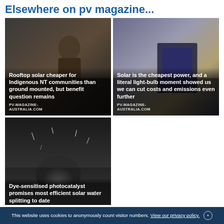Elsewhere on pv magazine...
[Figure (photo): Person in front of a rooftop solar panel installation]
[Figure (photo): Close-up of a solar panel on a surface with a light bulb nearby]
[Figure (photo): Close-up macro shot of water droplets or bubbles suggesting photocatalysis]
This website uses cookies to anonymously count visitor numbers. View our privacy policy. ×